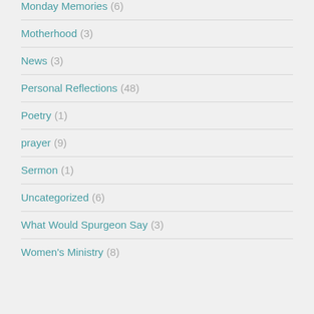Monday Memories (6)
Motherhood (3)
News (3)
Personal Reflections (48)
Poetry (1)
prayer (9)
Sermon (1)
Uncategorized (6)
What Would Spurgeon Say (3)
Women's Ministry (8)